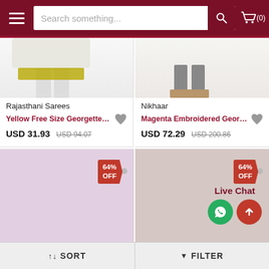[Figure (screenshot): E-commerce website header with hamburger menu, search bar, and cart icon on dark red background]
Rajasthani Sarees
Yellow Free Size Georgette De...
USD 31.93 USD 94.07
Nikhaar
Magenta Embroidered Georg...
USD 72.29 USD 200.86
[Figure (other): Product card with lavender/purple background and 64% OFF badge]
[Figure (other): Product card with beige/taupe background and 64% OFF badge, Live Chat button]
Live Chat
↑↓ SORT
▼ FILTER